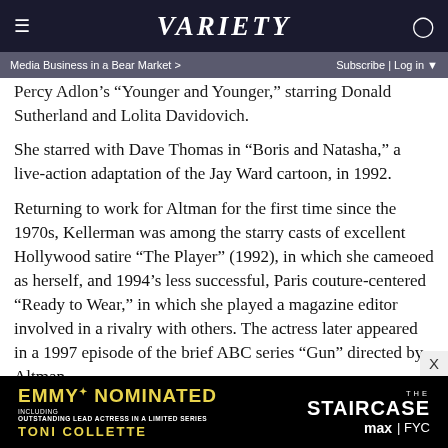VARIETY
Media Business in a Bear Market > | Subscribe | Log in
Percy Adlon’s “Younger and Younger,” starring Donald Sutherland and Lolita Davidovich.
She starred with Dave Thomas in “Boris and Natasha,” a live-action adaptation of the Jay Ward cartoon, in 1992.
Returning to work for Altman for the first time since the 1970s, Kellerman was among the starry casts of excellent Hollywood satire “The Player” (1992), in which she cameoed as herself, and 1994’s less successful, Paris couture-centered “Ready to Wear,” in which she played a magazine editor involved in a rivalry with others. The actress later appeared in a 1997 episode of the brief ABC series “Gun” directed by Altman.
[Figure (infographic): Emmy Nominated advertisement for The Staircase on Max FYC, featuring Toni Collette for Outstanding Lead Actress in a Limited Series]